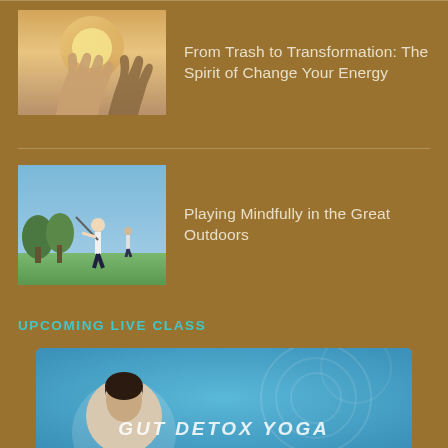[Figure (photo): Hands raised upward toward light, spiritual/energy themed photo]
From Trash to Transformation: The Spirit of Change Your Energy
[Figure (photo): Golfer swinging a golf club on a course, trees in background]
Playing Mindfully in the Great Outdoors
UPCOMING LIVE CLASS
[Figure (photo): Gut Detox Yoga live class banner with person's portrait on teal/blue background]